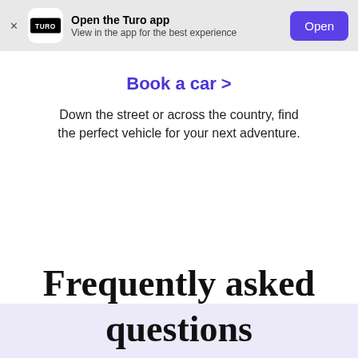[Figure (screenshot): Turo app banner with logo, text 'Open the Turo app / View in the app for the best experience', and an 'Open' button]
Book a car >
Down the street or across the country, find the perfect vehicle for your next adventure.
Frequently asked questions